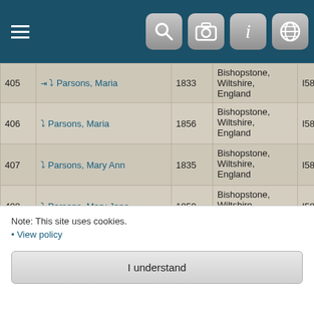Navigation bar with hamburger menu and icons
| # | Name | Year | Place | ID |  |
| --- | --- | --- | --- | --- | --- |
| 405 | Parsons, Maria | 1833 | Bishopstone, Wiltshire, England | I58849 |  |
| 406 | Parsons, Maria | 1856 | Bishopstone, Wiltshire, England | I58836 |  |
| 407 | Parsons, Mary Ann | 1835 | Bishopstone, Wiltshire, England | I58850 |  |
| 408 | Parsons, Mary Jane | 1859 | Bishopstone, Wiltshire, England | I58837 |  |
| 409 | Parsons, Michael | 1825 | Bishopstone, Wiltshire, England | I58831 |  |
Note: This site uses cookies.
• View policy
I understand